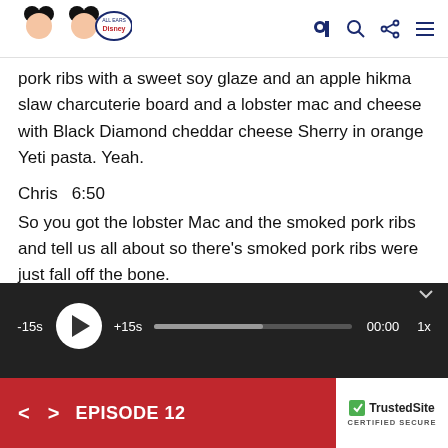All Ears Disney Podcast logo and navigation icons
pork ribs with a sweet soy glaze and an apple hikma slaw charcuterie board and a lobster mac and cheese with Black Diamond cheddar cheese Sherry in orange Yeti pasta. Yeah.
Chris  6:50
So you got the lobster Mac and the smoked pork ribs and tell us all about so there's smoked pork ribs were just fall off the bone.
[Figure (screenshot): Audio player bar with -15s skip back, play button, +15s skip forward, progress bar, 00:00 timestamp, and 1x speed control on dark background]
< > EPISODE 12  TrustedSite CERTIFIED SECURE